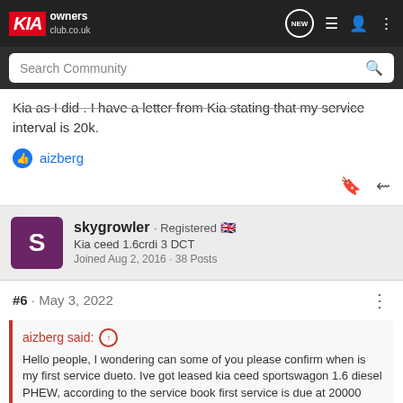KIA owners club.co.uk
Kia as I did . I have a letter from Kia stating that my service interval is 20k.
aizberg
skygrowler · Registered 🇬🇧
Kia ceed 1.6crdi 3 DCT
Joined Aug 2, 2016 · 38 Posts
#6 · May 3, 2022
aizberg said: ↑
Hello people, I wondering can some of you please confirm when is my first service dueto. Ive got leased kia ceed sportswagon 1.6 diesel PHEW, according to the service book first service is due at 20000